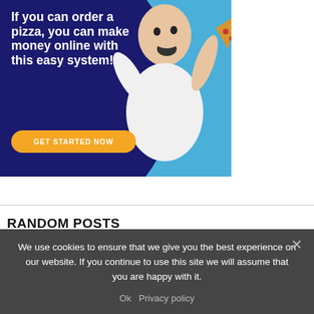[Figure (illustration): Advertisement banner with dark navy blue background and rounded shape on left side. Text reads 'If you can order a pizza, you can make money online with this easy system!' with a yellow-orange 'GET STARTED NOW' button. A man in a white t-shirt holds a pizza slice against a light blue background on the right side.]
RANDOM POSTS
We use cookies to ensure that we give you the best experience on our website. If you continue to use this site we will assume that you are happy with it.
Ok   Privacy policy